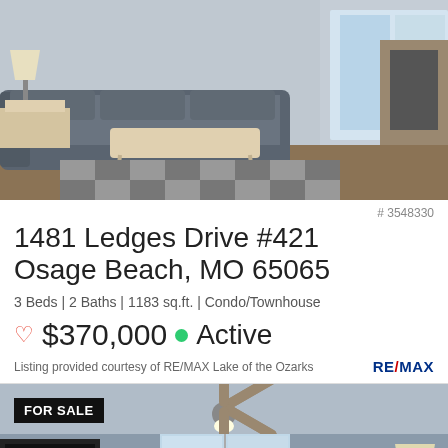[Figure (photo): Interior photo of a living room with dark grey sectional sofa, checkered rug, white coffee table, and fireplace]
# 3548330
1481 Ledges Drive #421
Osage Beach, MO 65065
3 Beds | 2 Baths | 1183 sq.ft. | Condo/Townhouse
♡ $370,000 ● Active
Listing provided courtesy of RE/MAX Lake of the Ozarks
[Figure (photo): Interior photo of a living room with ceiling fan, leather sofas, fireplace, and lake view through sliding glass doors, with FOR SALE badge overlay]